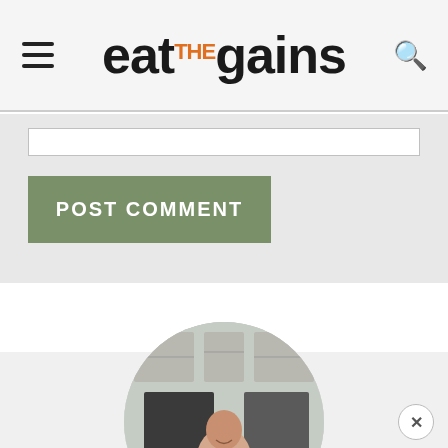eat the gains
[Figure (screenshot): Comment input field (text box) partially visible at top of comment section]
[Figure (other): POST COMMENT button - green/sage colored button with white bold uppercase text]
[Figure (photo): Circular cropped photo of a person (woman smiling) in a kitchen setting, partially visible at bottom of page]
[Figure (other): Close (X) button circle at bottom right of page]